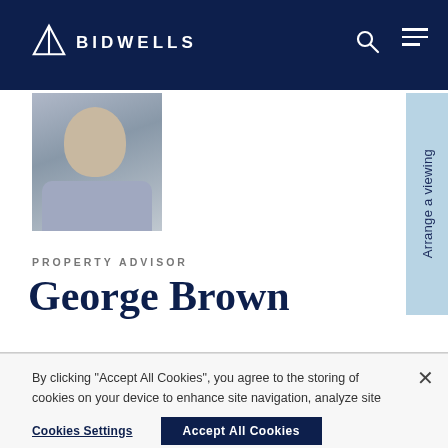BIDWELLS
[Figure (photo): Headshot of George Brown, a man in a light blue shirt, smiling, against a white background]
PROPERTY ADVISOR
George Brown
By clicking "Accept All Cookies", you agree to the storing of cookies on your device to enhance site navigation, analyze site usage, and assist in our marketing efforts.
Cookies Settings
Accept All Cookies